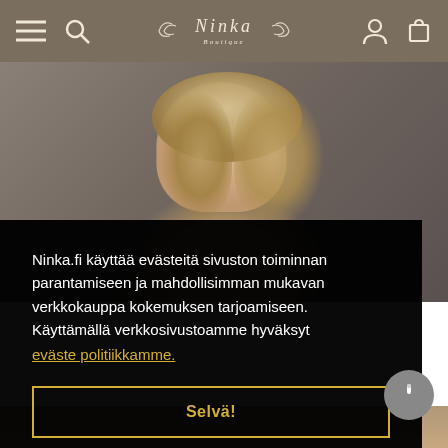Ninka – navigation bar with hamburger menu, search, logo, account and cart icons
[Figure (photo): Portrait photo of a blonde woman looking to the side, against a grey background, cropped to upper body and face]
Ninka.fi käyttää evästeitä sivuston toiminnan parantamiseen ja mahdollisimman mukavan verkkokauppa kokemuksen tarjoamiseen. Käyttämällä verkkosivustoamme hyväksyt
eväste politiikkamme.
Selvä!
[Figure (photo): Partial photo visible at the bottom of the page showing another model or product image]